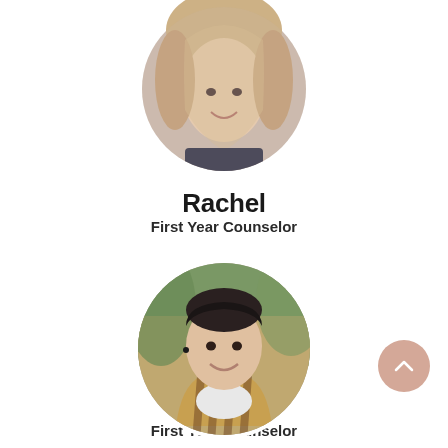[Figure (photo): Circular portrait photo of Rachel, a young woman with blonde hair, smiling, partially cropped at top of page]
Rachel
First Year Counselor
[Figure (photo): Circular portrait photo of Sagi, a young man with dark hair wearing a plaid shirt, smiling, outdoors background]
Sagi
First Year Counselor